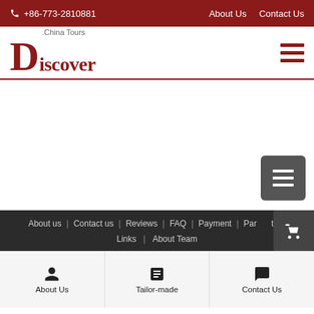+86-773-2810881  About Us  Contact Us
[Figure (logo): Discover China Tours logo with large red D and text]
[Figure (other): Hamburger menu icon with three dark red horizontal bars]
[Figure (other): Floating dark gray menu button with three white horizontal bars]
About us | Contact us | Reviews | FAQ | Payment | Partner | Links | About Team
[Figure (infographic): Bottom navigation bar with About Us (person icon), Tailor-made (document icon), Contact Us (speech bubble icon)]